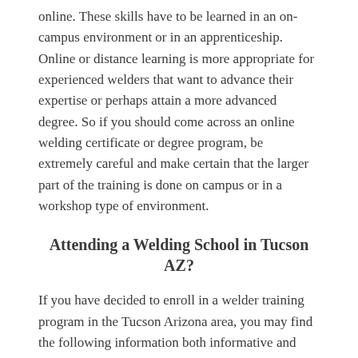online. These skills have to be learned in an on-campus environment or in an apprenticeship. Online or distance learning is more appropriate for experienced welders that want to advance their expertise or perhaps attain a more advanced degree. So if you should come across an online welding certificate or degree program, be extremely careful and make certain that the larger part of the training is done on campus or in a workshop type of environment.
Attending a Welding School in Tucson AZ?
If you have decided to enroll in a welder training program in the Tucson Arizona area, you may find the following information both informative and helpful about the location of your new school campus.
Tucson, Arizona